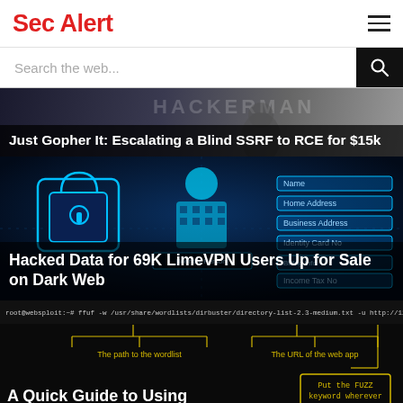Sec Alert
Search the web...
[Figure (screenshot): Hacker Man banner image with dark background and figures]
Just Gopher It: Escalating a Blind SSRF to RCE for $15k
[Figure (illustration): Cybersecurity illustration: glowing blue padlock, digital human silhouette, data form fields on dark blue background]
Hacked Data for 69K LimeVPN Users Up for Sale on Dark Web
[Figure (screenshot): Terminal command screenshot showing ffuf command with annotated diagram explaining path to wordlist, URL of web app, FUZZ keyword placement, -c colored output, -v verbose flags]
A Quick Guide to Using ffuf with Burp Suite
[Figure (photo): Outdoor scene preview strip at bottom]